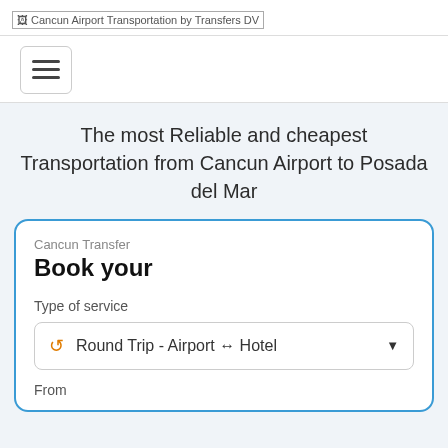[Figure (logo): Cancun Airport Transportation by Transfers DV logo (broken image placeholder with alt text)]
[Figure (other): Navigation toggle button with three horizontal lines (hamburger menu)]
The most Reliable and cheapest Transportation from Cancun Airport to Posada del Mar
Cancun Transfer
Book your
Type of service
Round Trip - Airport ↔ Hotel
From